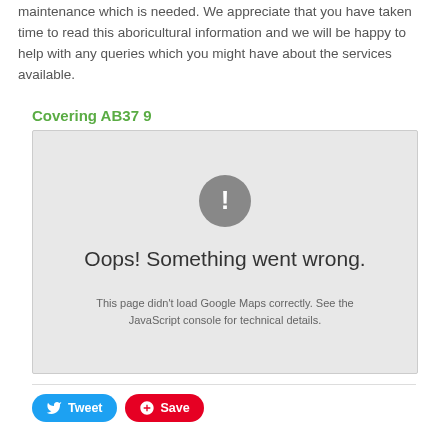maintenance which is needed. We appreciate that you have taken time to read this aboricultural information and we will be happy to help with any queries which you might have about the services available.
Covering AB37 9
[Figure (screenshot): Google Maps error state showing 'Oops! Something went wrong.' with warning icon and message: 'This page didn't load Google Maps correctly. See the JavaScript console for technical details.']
Tweet
Save